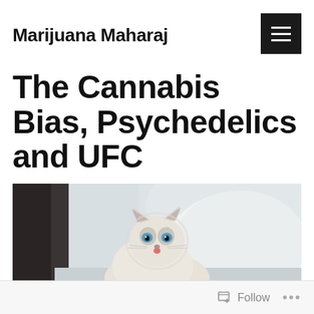Marijuana Maharaj
The Cannabis Bias, Psychedelics and UFC
[Figure (photo): A white/cream fluffy cat with blue eyes lying in a white rounded chair or pod, sticking out its tongue slightly, photographed indoors]
Follow ...